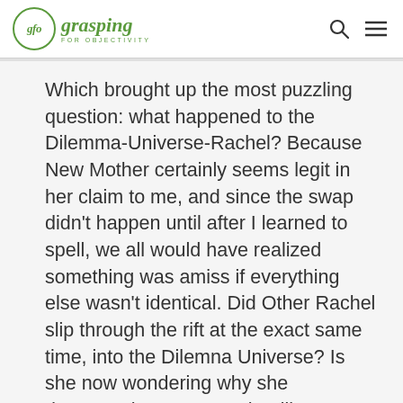gfo grasping FOR OBJECTIVITY
Which brought up the most puzzling question: what happened to the Dilemma-Universe-Rachel? Because New Mother certainly seems legit in her claim to me, and since the swap didn't happen until after I learned to spell, we all would have realized something was amiss if everything else wasn't identical. Did Other Rachel slip through the rift at the exact same time, into the Dilemna Universe? Is she now wondering why she desperately wants to write dilemma when everyone knows there's a silent n? Is Old Mother constantly frustrated at Rachel's inability to properly spell dilemna?